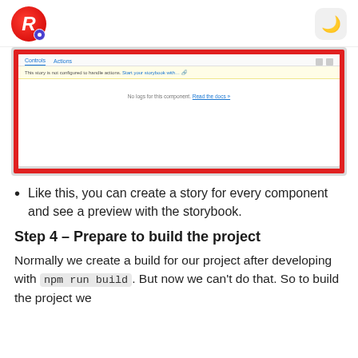R [logo] / dark mode toggle
[Figure (screenshot): Storybook UI screenshot showing a component preview with a warning banner about not being configured to handle actions, and a 'No logs' message in the bottom panel.]
Like this, you can create a story for every component and see a preview with the storybook.
Step 4 – Prepare to build the project
Normally we create a build for our project after developing with npm run build. But now we can't do that. So to build the project we